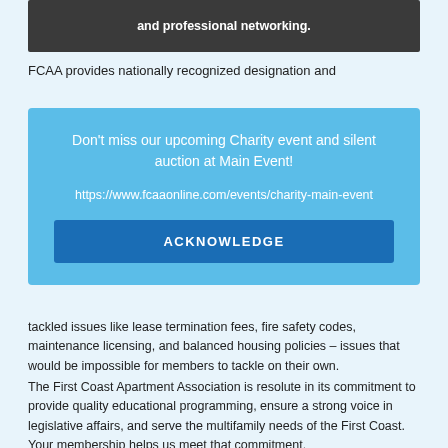and professional networking.
FCAA provides nationally recognized designation and
[Figure (other): Blue popup/modal dialog box with text: Don't miss our upcoming Charity event and silent auction at Main Event! https://www.fcaaonline.com/events/charity-main-event and an ACKNOWLEDGE button]
tackled issues like lease termination fees, fire safety codes, maintenance licensing, and balanced housing policies – issues that would be impossible for members to tackle on their own.
The First Coast Apartment Association is resolute in its commitment to provide quality educational programming, ensure a strong voice in legislative affairs, and serve the multifamily needs of the First Coast. Your membership helps us meet that commitment.